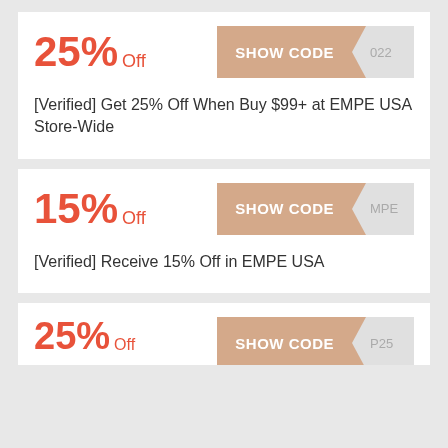[Figure (infographic): Coupon card 1: 25% Off discount code button showing 'SHOW CODE' with partial code '022'. Description: [Verified] Get 25% Off When Buy $99+ at EMPE USA Store-Wide]
[Figure (infographic): Coupon card 2: 15% Off discount code button showing 'SHOW CODE' with partial code 'MPE'. Description: [Verified] Receive 15% Off in EMPE USA]
[Figure (infographic): Coupon card 3 (partial): 25% Off discount code button showing 'SHOW CODE' with partial code 'P25']